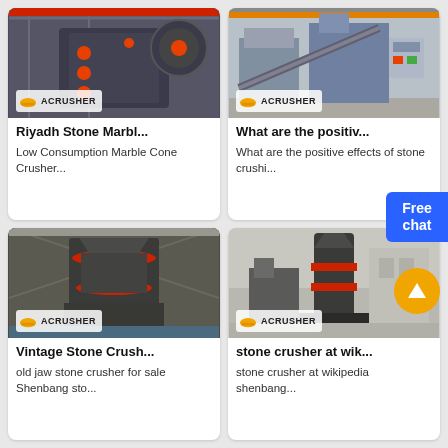[Figure (photo): Industrial jaw crusher machine in a factory, dark grey with orange accents, ACRUSHER branding]
Riyadh Stone Marbl...
Low Consumption Marble Cone Crusher...
[Figure (photo): Stone crushing plant machinery in warehouse, ACRUSHER branding]
What are the positiv...
What are the positive effects of stone crushi...
[Figure (photo): Vintage cone crusher machine in factory, red band accent, ACRUSHER branding]
Vintage Stone Crush...
old jaw stone crusher for sale Shenbang sto...
[Figure (photo): Stone crusher vertical mill machine in factory, ACRUSHER branding]
stone crusher at wik...
stone crusher at wikipedia shenbang...